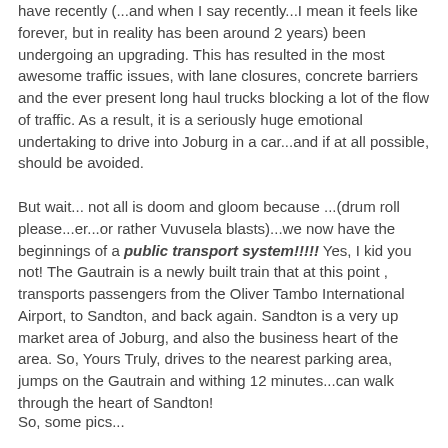have recently (...and when I say recently...I mean it feels like forever, but in reality has been around 2 years) been undergoing an upgrading. This has resulted in the most awesome traffic issues, with lane closures, concrete barriers and the ever present long haul trucks blocking a lot of the flow of traffic. As a result, it is a seriously huge emotional undertaking to drive into Joburg in a car...and if at all possible, should be avoided.
But wait... not all is doom and gloom because ...(drum roll please...er...or rather Vuvusela blasts)...we now have the beginnings of a public transport system!!!!! Yes, I kid you not! The Gautrain is a newly built train that at this point , transports passengers from the Oliver Tambo International Airport, to Sandton, and back again. Sandton is a very up market area of Joburg, and also the business heart of the area. So, Yours Truly, drives to the nearest parking area, jumps on the Gautrain and withing 12 minutes...can walk through the heart of Sandton!
So, some pics...